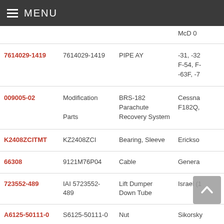MENU
| Part Number | Manufacturer Part | Description | Manufacturer |
| --- | --- | --- | --- |
| 7614029-1419 | 7614029-1419 | PIPE AY | -31, -32 F-54, F- -63F, -7 |
| 009005-02 | Modification Parts | BRS-182 Parachute Recovery System | Cessna F182Q, |
| K2408ZCITMT | KZ2408ZCI | Bearing, Sleeve | Erickso |
| 66308 | 9121M76P04 | Cable | Genera |
| 723552-489 | IAI 5723552-489 | Lift Dumper Down Tube | Israel (1 |
| A6125-50111-0 | S6125-50111-0 | Nut | Sikorsky |